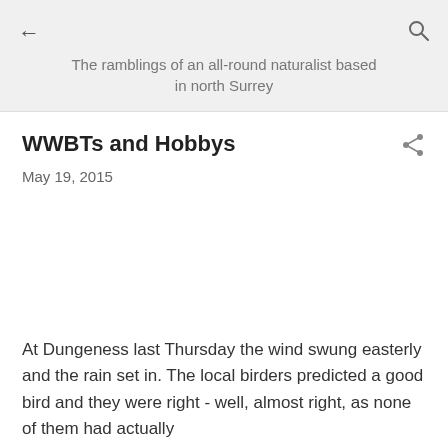The ramblings of an all-round naturalist based in north Surrey
WWBTs and Hobbys
May 19, 2015
At Dungeness last Thursday the wind swung easterly and the rain set in. The local birders predicted a good bird and they were right - well, almost right, as none of them had actually